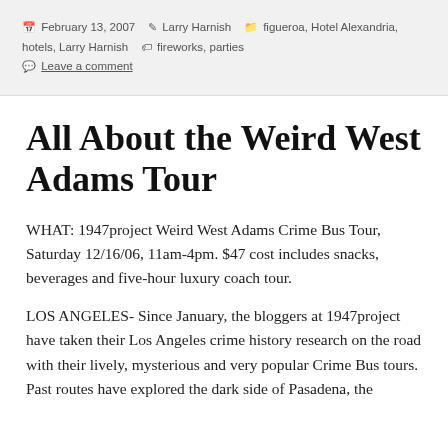February 13, 2007  Larry Harnish  figueroa, Hotel Alexandria, hotels, Larry Harnish  fireworks, parties  Leave a comment
All About the Weird West Adams Tour
WHAT: 1947project Weird West Adams Crime Bus Tour, Saturday 12/16/06, 11am-4pm. $47 cost includes snacks, beverages and five-hour luxury coach tour.
LOS ANGELES- Since January, the bloggers at 1947project have taken their Los Angeles crime history research on the road with their lively, mysterious and very popular Crime Bus tours. Past routes have explored the dark side of Pasadena, the